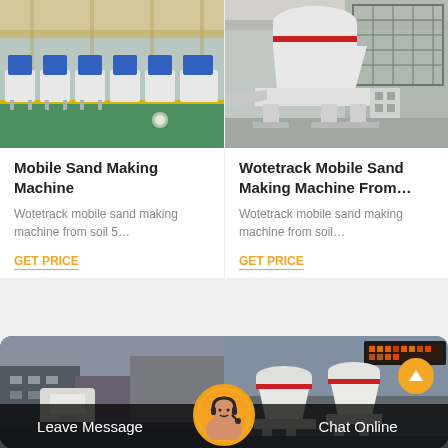[Figure (photo): Industrial factory floor with rows of blue sand making machines on white frames, green floor, warehouse setting]
[Figure (photo): Large white cone crusher / sand making machine in industrial warehouse]
Mobile Sand Making Machine
Wotetrack mobile sand making machine from soil 5…
GET PRICE
Wotetrack Mobile Sand Making Machine From…
Wotetrack mobile sand making machine from soil…
GET PRICE
[Figure (photo): Factory exterior with large industrial building and white equipment]
[Figure (photo): Industrial site with cone crushers and LED sign board in Chinese]
Leave Message
Chat Online